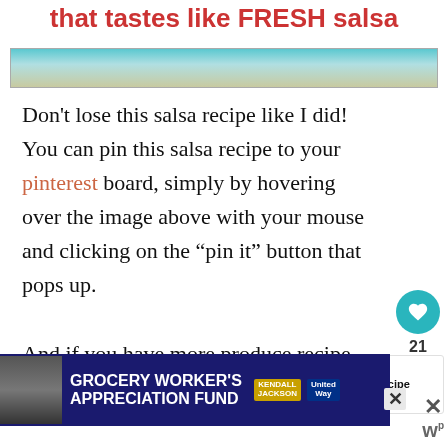that tastes like FRESH salsa
[Figure (photo): Hero image strip, appears to be a photo related to salsa or tomatoes, partially visible]
Don't lose this salsa recipe like I did! You can pin this salsa recipe to your pinterest board, simply by hovering over the image above with your mouse and clicking on the “pin it” button that pops up.
[Figure (infographic): Social share widget showing heart icon button and share button with count 21]
[Figure (infographic): What's Next widget showing Salsa Recipe for Canning with thumbnail image]
And if you have more produce recipe for how to can tomatoes
[Figure (infographic): Advertisement banner: GROCERY WORKER'S APPRECIATION FUND with Kendall-Jackson and United Way logos]